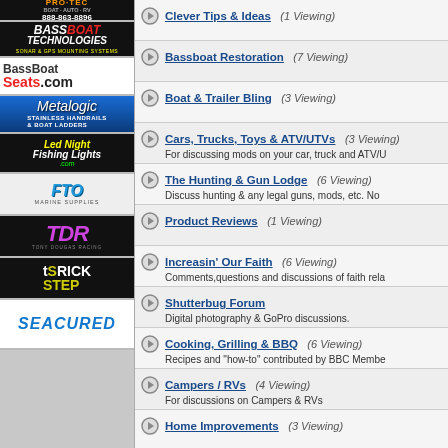[Figure (logo): Pro-Tec Boat Auto RV logo with phone 888-863-8896]
[Figure (logo): Bass Boat Technologies Sonar & GPS Mounting Systems logo]
[Figure (logo): BassBoat Seats.com logo]
[Figure (logo): Metalogic Stainless Handrails & Boat Ladders logo]
[Figure (logo): Led Night Fishing Lights logo]
[Figure (logo): FTO Marine Supplies logo]
[Figure (logo): Tony Dougas Racing TDR logo]
[Figure (logo): Trick Step logo]
[Figure (logo): Seacured logo]
Clever Tips & Ideas (1 Viewing)
Bassboat Restoration (7 Viewing)
Boat & Trailer Bling (3 Viewing)
Cars, Trucks, Toys & ATV/UTVs (3 Viewing) - For discussing mods on your car, truck and ATV/
The Hunting & Gun Lodge (6 Viewing) - Discuss hunting & any legal guns, mods, etc. No gun ownership
Product Reviews (1 Viewing)
Increasin' Our Faith (6 Viewing) - Comments, questions and discussions of faith rela
Shutterbug Forum - Digital photography & GoPro discussions.
Cooking, Grilling & BBQ (6 Viewing) - Recipes and "how-to" contributed by BBC Membe
Campers / RVs (4 Viewing) - For discussions on Campers & RVs
Home Improvements (3 Viewing)